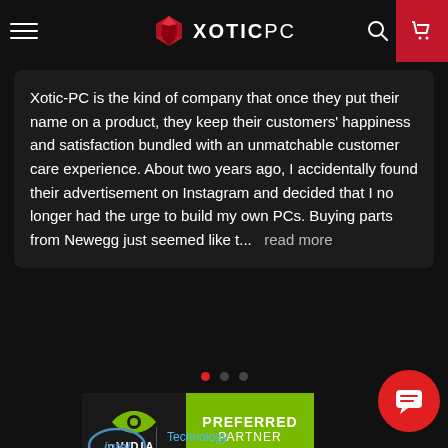XOTICPC
Xotic-PC is the kind of company that once they put their name on a product, they keep their customers' happiness and satisfaction bundled with an unmatchable customer care experience. About two years ago, I accidentally found their advertisement on Instagram and decided that I no longer had the urge to build my own PCs. Buying parts from Newegg just seemed like t...  read more
[Figure (logo): NVIDIA Preferred Partner badge — black background with NVIDIA logo on left, green background with PREFERRED PARTNER text on right]
[Figure (logo): Intel Technology Provider badge]